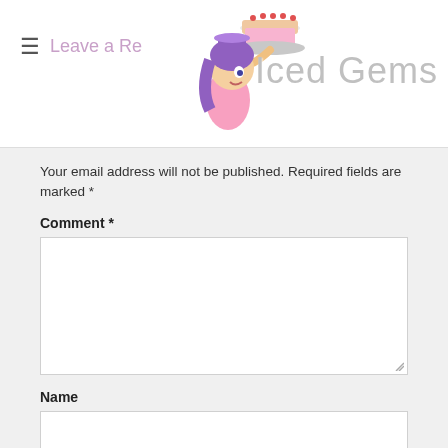Leave a Reply — Iced Gems
Your email address will not be published. Required fields are marked *
Comment *
Name
Email